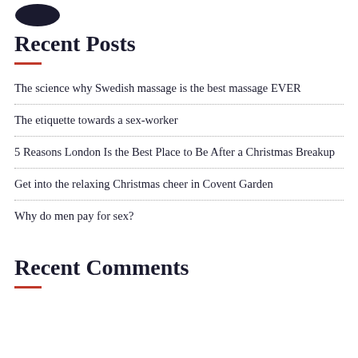[Figure (logo): Dark rounded logo/icon in top left corner]
Recent Posts
The science why Swedish massage is the best massage EVER
The etiquette towards a sex-worker
5 Reasons London Is the Best Place to Be After a Christmas Breakup
Get into the relaxing Christmas cheer in Covent Garden
Why do men pay for sex?
Recent Comments